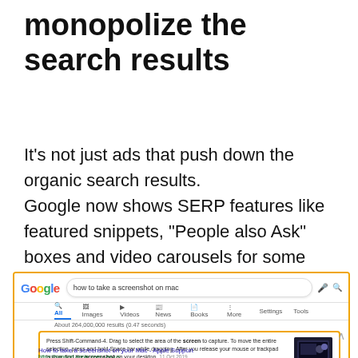monopolize the search results
It's not just ads that push down the organic search results. Google now shows SERP features like featured snippets, “People also Ask” boxes and video carousels for some queries.
[Figure (screenshot): Screenshot of a Google search results page for 'how to take a screenshot on mac', showing the Google logo, search bar, navigation tabs (All, Images, Videos, News, Books, More, Settings, Tools), result count 'About 264,000,000 results (0.47 seconds)', a featured snippet with instructions about pressing Shift-Command-4 and an image of a Mac laptop, and a result link 'How to take a screenshot on your Mac - Apple Support'. The featured snippet box is highlighted with an orange border.]